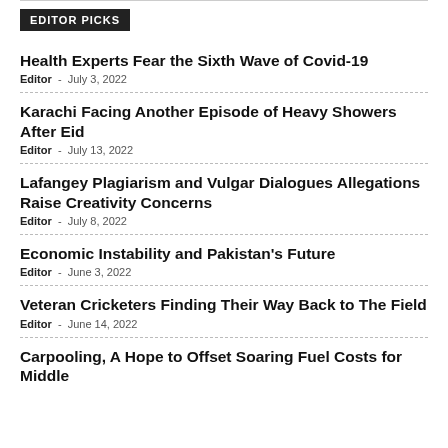EDITOR PICKS
Health Experts Fear the Sixth Wave of Covid-19
Editor - July 3, 2022
Karachi Facing Another Episode of Heavy Showers After Eid
Editor - July 13, 2022
Lafangey Plagiarism and Vulgar Dialogues Allegations Raise Creativity Concerns
Editor - July 8, 2022
Economic Instability and Pakistan's Future
Editor - June 3, 2022
Veteran Cricketers Finding Their Way Back to The Field
Editor - June 14, 2022
Carpooling, A Hope to Offset Soaring Fuel Costs for Middle